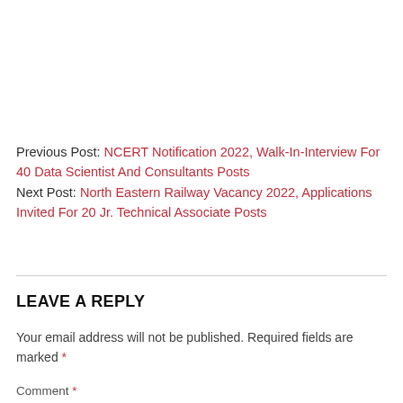Previous Post: NCERT Notification 2022, Walk-In-Interview For 40 Data Scientist And Consultants Posts
Next Post: North Eastern Railway Vacancy 2022, Applications Invited For 20 Jr. Technical Associate Posts
LEAVE A REPLY
Your email address will not be published. Required fields are marked *
Comment *